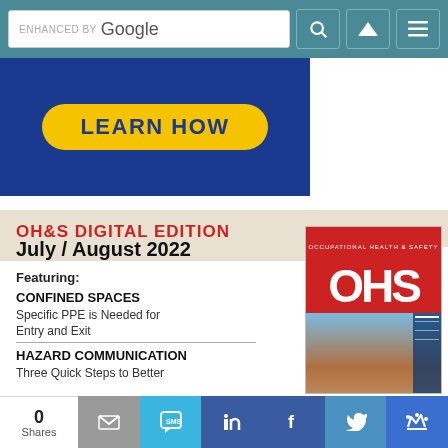ENHANCED BY Google [search bar with navigation icons]
[Figure (other): Blue banner advertisement with yellow 'LEARN HOW' button]
OH&S DIGITAL EDITION
July / August 2022
Featuring:
CONFINED SPACES
Specific PPE is Needed for Entry and Exit
HAZARD COMMUNICATION
Three Quick Steps to Better
[Figure (photo): OHS Magazine cover for July/August 2022 showing a woman in safety gear on the cover of Occupational Health & Safety magazine]
0 Shares [Email] [SMS] [LinkedIn] [Facebook] [Twitter] [Crown]